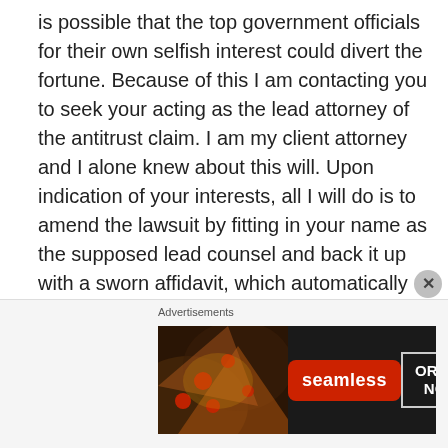is possible that the top government officials for their own selfish interest could divert the fortune. Because of this I am contacting you to seek your acting as the lead attorney of the antitrust claim. I am my client attorney and I alone knew about this will. Upon indication of your interests, all I will do is to amend the lawsuit by fitting in your name as the supposed lead counsel and back it up with a sworn affidavit, which automatically became valid. This amendment should be between us and
[Figure (other): Seamless food delivery advertisement banner with pizza image, red Seamless logo badge, and ORDER NOW button on dark background]